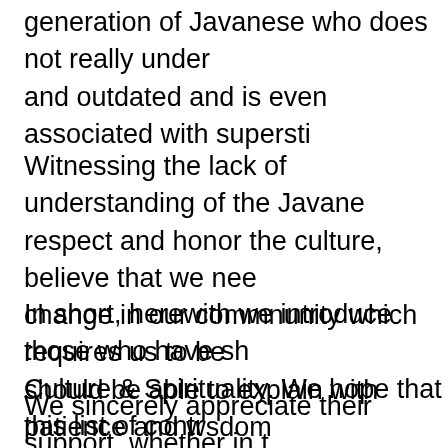generation of Javanese who does not really understand and outdated and is even associated with superstition
Witnessing the lack of understanding of the Javanese respect and honor the culture, believe that we need a change in our commnunity which requires us to be should be able to explain with patience and wsdom accepted. In this era, to share positively will be the
In short, herewith we introduce those who have shown Culture & Spirituality. We hope that this list of contributors
We sincerely appreciate their support, whether in the translations and editing, photographs etc. We also